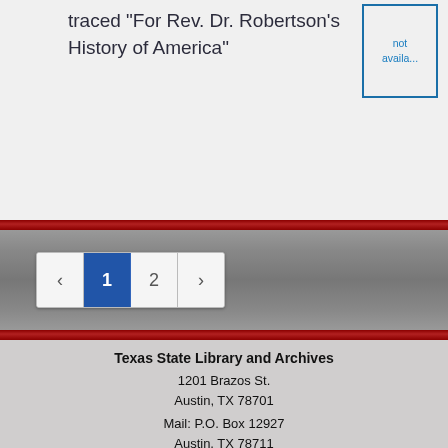traced "For Rev. Dr. Robertson's History of America"
[Figure (screenshot): Image not available placeholder with blue border]
[Figure (screenshot): Pagination control showing pages 1 and 2 with navigation arrows, page 1 active (blue)]
Texas State Library and Archives
1201 Brazos St.
Austin, TX 78701
Mail: P.O. Box 12927
Austin, TX 78711
Tel: 512-463-5455
Fax: 512-463-5436